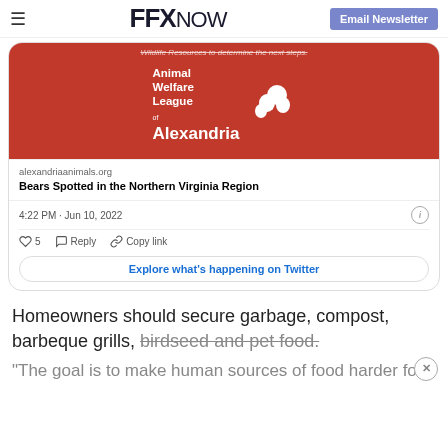≡  FFX NOW  Email Newsletter
[Figure (screenshot): Tweet card from Animal Welfare League of Alexandria showing a red banner with AWL logo, link to alexandriaanimals.org article 'Bears Spotted in the Northern Virginia Region', timestamp 4:22 PM · Jun 10, 2022, like count 5, Reply, Copy link actions, and 'Explore what's happening on Twitter' button.]
Homeowners should secure garbage, compost, barbeque grills, birdseed and pet food.
"The goal is to make human sources of food harder for